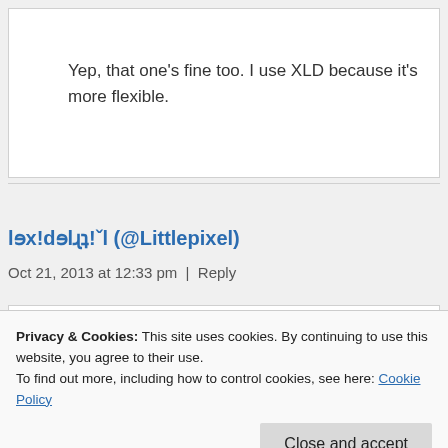Yep, that one’s fine too. I use XLD because it’s more flexible.
ləx!dəlѲţ!ˇl (@Littlepixel)
Oct 21, 2013 at 12:33 pm | Reply
Privacy & Cookies: This site uses cookies. By continuing to use this website, you agree to their use.
To find out more, including how to control cookies, see here: Cookie Policy
Close and accept